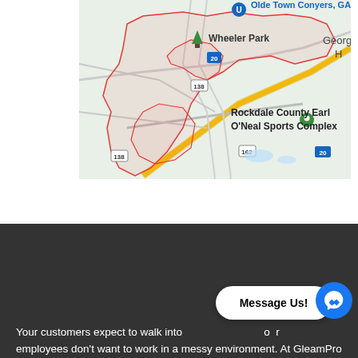[Figure (map): Google Maps screenshot showing Conyers, GA area including Olde Town Conyers, Wheeler Park, Rockdale County Earl O'Neal Sports Complex, with roads and route markers (20, 138, 162).]
Your customers expect to walk into a clean environment. Your employees don't want to work in a messy environment. At GleamPro